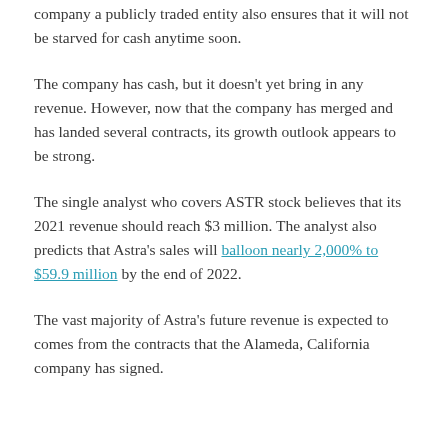company a publicly traded entity also ensures that it will not be starved for cash anytime soon.
The company has cash, but it doesn't yet bring in any revenue. However, now that the company has merged and has landed several contracts, its growth outlook appears to be strong.
The single analyst who covers ASTR stock believes that its 2021 revenue should reach $3 million. The analyst also predicts that Astra's sales will balloon nearly 2,000% to $59.9 million by the end of 2022.
The vast majority of Astra's future revenue is expected to comes from the contracts that the Alameda, California company has signed.